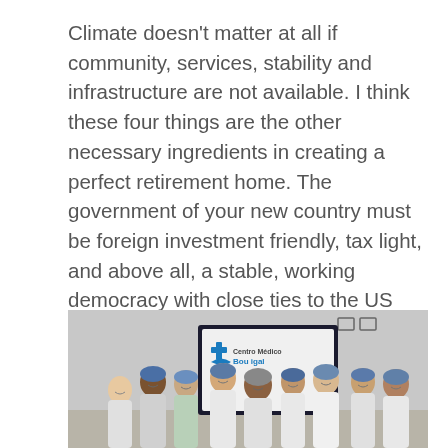Climate doesn't matter at all if community, services, stability and infrastructure are not available.  I think these four things are the other necessary ingredients in creating a perfect retirement home.  The government of your new country must be foreign investment friendly, tax light, and above all, a stable, working democracy with close ties to the US and Canada.  The Dominican Republic is a very good example of all these things.
[Figure (photo): Group photo of approximately 10 medical professionals in surgical scrubs and caps, standing in front of a screen displaying 'Centro Medico Bournigal' with a blue medical cross logo. Two small monitor icons visible in upper right area of photo.]